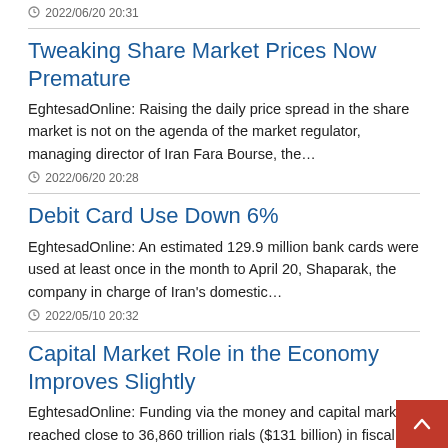2022/06/20 20:31
Tweaking Share Market Prices Now Premature
EghtesadOnline: Raising the daily price spread in the share market is not on the agenda of the market regulator, managing director of Iran Fara Bourse, the…
2022/06/20 20:28
Debit Card Use Down 6%
EghtesadOnline: An estimated 129.9 million bank cards were used at least once in the month to April 20, Shaparak, the company in charge of Iran's domestic…
2022/05/10 20:32
Capital Market Role in the Economy Improves Slightly
EghtesadOnline: Funding via the money and capital markets reached close to 36,860 trillion rials ($131 billion) in fiscal 2021-22.
2022/05/10 20:28